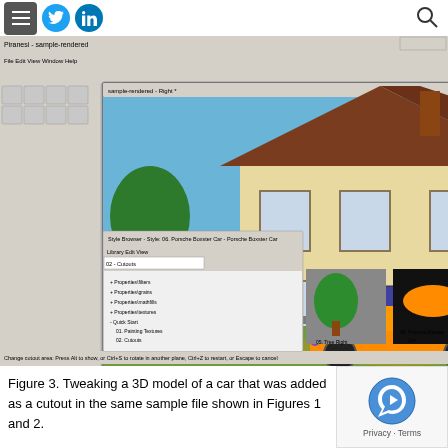Navigation menu, Twitter, LinkedIn, Search icons
[Figure (screenshot): Screenshot of Piranesi 3D rendering software showing a house model with an orange sports car cutout (Porsche Boxster Car) in the front driveway. The interface shows toolbars, a Style Browser panel, material settings panel on the right with Cutout Manager, and a status bar at the bottom.]
Figure 3. Tweaking a 3D model of a car that was added as a cutout in the same sample file shown in Figures 1 and 2.